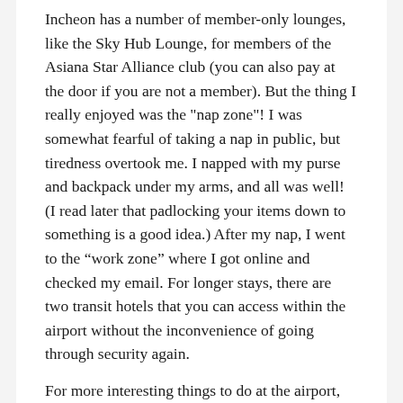Incheon has a number of member-only lounges, like the Sky Hub Lounge, for members of the Asiana Star Alliance club (you can also pay at the door if you are not a member). But the thing I really enjoyed was the "nap zone"! I was somewhat fearful of taking a nap in public, but tiredness overtook me. I napped with my purse and backpack under my arms, and all was well! (I read later that padlocking your items down to something is a good idea.) After my nap, I went to the “work zone” where I got online and checked my email. For longer stays, there are two transit hotels that you can access within the airport without the inconvenience of going through security again.
For more interesting things to do at the airport, the site Sleeping in Airports has a great list: LEARN MORE
My favorite thing to do is eat, so I had two meals in different restaurants in the food court in Terminal 1. I actually discovered later that I missed a lot of dining possibilities since there are more restaurants in Terminal 2 and even in the basement of Terminal 1! My first meal was Japchae, a Korean dish made of sweet potato starch